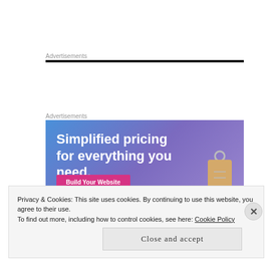Advertisements
[Figure (other): Black horizontal bar under Advertisements label]
Advertisements
[Figure (illustration): Advertisement banner: 'Simplified pricing for everything you need.' with 'Build Your Website' button and a price tag image on blue/purple gradient background]
Privacy & Cookies: This site uses cookies. By continuing to use this website, you agree to their use.
To find out more, including how to control cookies, see here: Cookie Policy
Close and accept